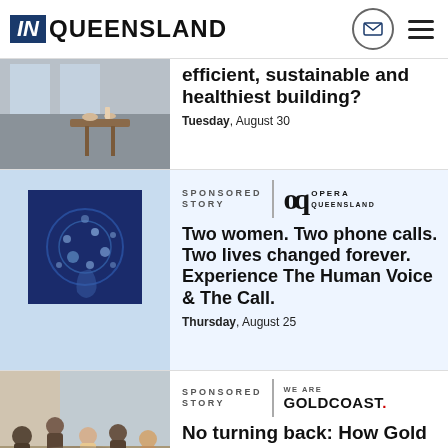IN QUEENSLAND
efficient, sustainable and healthiest building?
Tuesday, August 30
SPONSORED STORY
Two women. Two phone calls. Two lives changed forever. Experience The Human Voice & The Call.
Thursday, August 25
SPONSORED STORY
No turning back: How Gold Coast is leading way